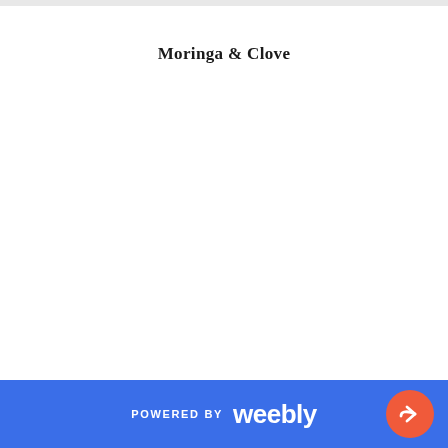Moringa & Clove
POWERED BY weebly